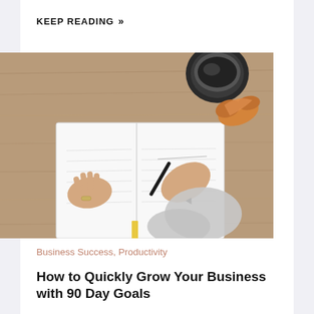KEEP READING »
[Figure (photo): Overhead/top-down view of a person writing in an open notebook on a wooden table, with a dark coffee mug and a croissant in the upper right corner. The person is wearing a grey sweater and a ring.]
Business Success, Productivity
How to Quickly Grow Your Business with 90 Day Goals